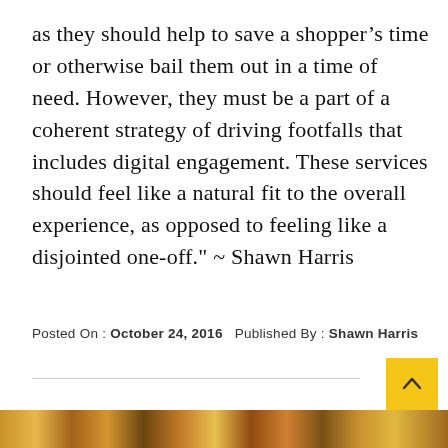as they should help to save a shopper's time or otherwise bail them out in a time of need. However, they must be a part of a coherent strategy of driving footfalls that includes digital engagement. These services should feel like a natural fit to the overall experience, as opposed to feeling like a disjointed one-off." ~ Shawn Harris
Posted On : October 24, 2016   Published By : Shawn Harris
[Figure (photo): A colorful image strip at the bottom of the page showing food or market items]